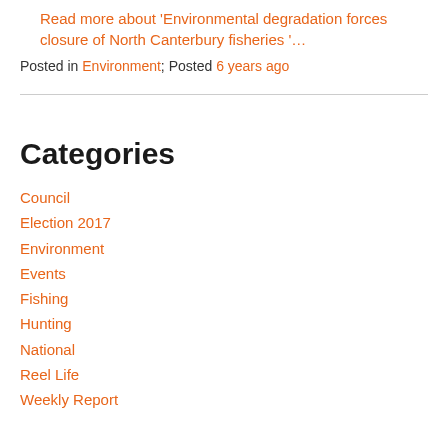Read more about 'Environmental degradation forces closure of North Canterbury fisheries '…
Posted in Environment; Posted 6 years ago
Categories
Council
Election 2017
Environment
Events
Fishing
Hunting
National
Reel Life
Weekly Report